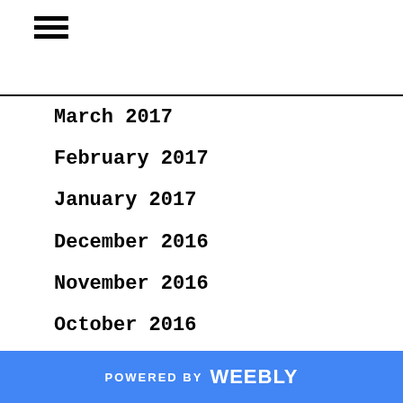March 2017
February 2017
January 2017
December 2016
November 2016
October 2016
September 2016
August 2016
July 2016
June 2016
POWERED BY weebly